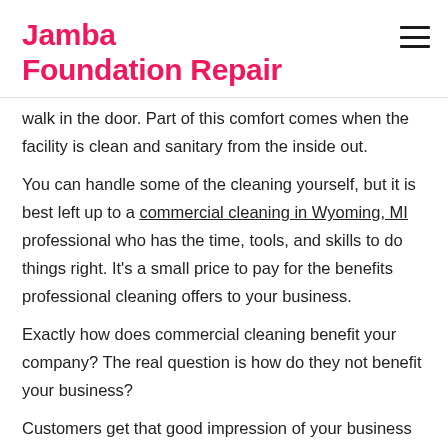Jamba Foundation Repair
walk in the door. Part of this comfort comes when the facility is clean and sanitary from the inside out.
You can handle some of the cleaning yourself, but it is best left up to a commercial cleaning in Wyoming, MI professional who has the time, tools, and skills to do things right. It’s a small price to pay for the benefits professional cleaning offers to your business.
Exactly how does commercial cleaning benefit your company? The real question is how do they not benefit your business?
Customers get that good impression of your business when it is clean from the inside out. They know they found